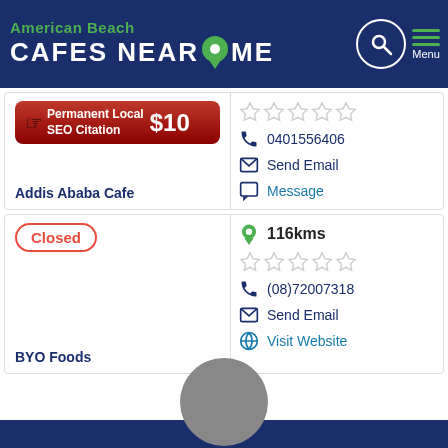American Beach CAFES NEAR ME
[Figure (infographic): Ad banner: Permanent Local SEO Citation $10]
0401556406
Send Email
Message
Addis Ababa Cafe
Closed
116kms
(08)72007318
Send Email
Visit Website
BYO Foods